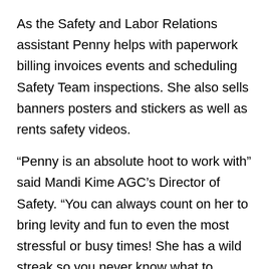As the Safety and Labor Relations assistant Penny helps with paperwork billing invoices events and scheduling Safety Team inspections. She also sells banners posters and stickers as well as rents safety videos.
“Penny is an absolute hoot to work with” said Mandi Kime AGC’s Director of Safety. “You can always count on her to bring levity and fun to even the most stressful or busy times! She has a wild streak so you never know what to expect from her (except humor)!”
Penny’s favorite story from working at the AGC is from March of 2008. The AGC Education Foundation puts together a March Madness competition and Penny came in